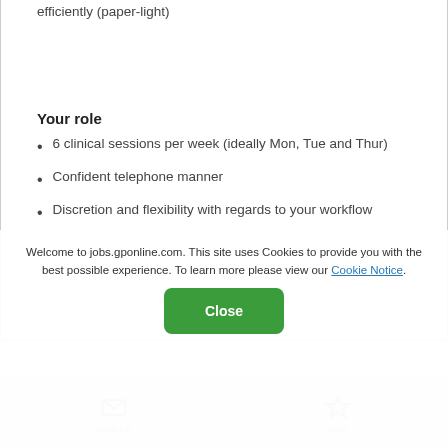efficiently (paper-light)
Your role
6 clinical sessions per week (ideally Mon, Tue and Thur)
Confident telephone manner
Discretion and flexibility with regards to your workflow
Welcome to jobs.gponline.com. This site uses Cookies to provide you with the best possible experience. To learn more please view our Cookie Notice.